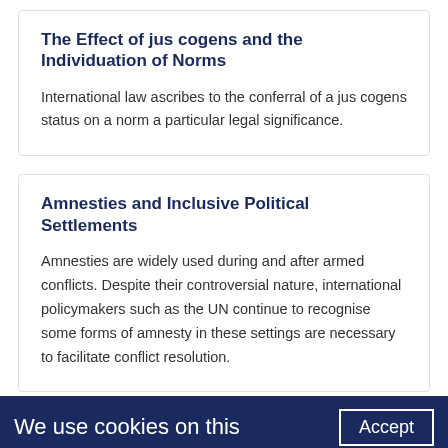The Effect of jus cogens and the Individuation of Norms
International law ascribes to the conferral of a jus cogens status on a norm a particular legal significance.
Amnesties and Inclusive Political Settlements
Amnesties are widely used during and after armed conflicts. Despite their controversial nature, international policymakers such as the UN continue to recognise some forms of amnesty in these settings are necessary to facilitate conflict resolution.
We use cookies on this   Accept